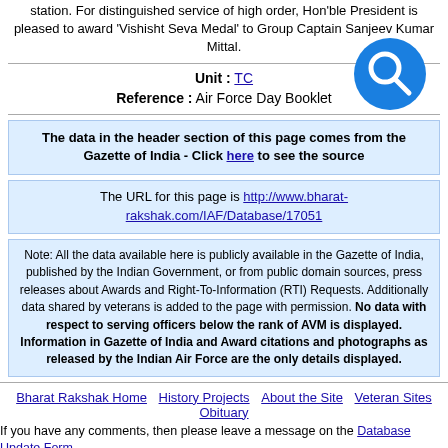station. For distinguished service of high order, Hon'ble President is pleased to award 'Vishisht Seva Medal' to Group Captain Sanjeev Kumar Mittal.
Unit : TC
Reference : Air Force Day Booklet
The data in the header section of this page comes from the Gazette of India - Click here to see the source
The URL for this page is http://www.bharat-rakshak.com/IAF/Database/17051
Note: All the data available here is publicly available in the Gazette of India, published by the Indian Government, or from public domain sources, press releases about Awards and Right-To-Information (RTI) Requests. Additionally data shared by veterans is added to the page with permission. No data with respect to serving officers below the rank of AVM is displayed. Information in Gazette of India and Award citations and photographs as released by the Indian Air Force are the only details displayed.
Bharat Rakshak Home  History Projects  About the Site  Veteran Sites  Obituary
If you have any comments, then please leave a message on the Database Update Form
Copyright 2017 Bharat-Rakshak.com. All Rights Reserved. Reproduction in whole or in part in any form or medium without express written permission of BHARAT RAKSHAK is prohibited.